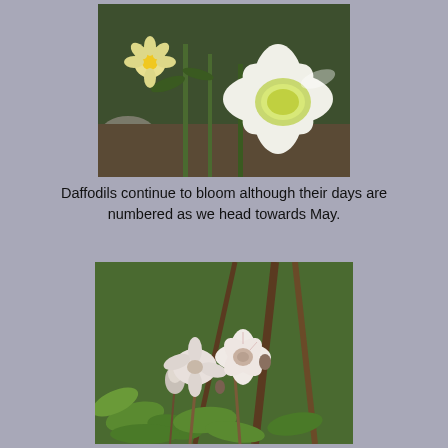[Figure (photo): Close-up photograph of white daffodil flowers with yellow centers blooming in a garden with green foliage and rocks in the background]
Daffodils continue to bloom although their days are numbered as we head towards May.
[Figure (photo): Close-up photograph of small white flowers (geranium-like) with pink veins growing amid green leaves and brown stems in a garden setting]